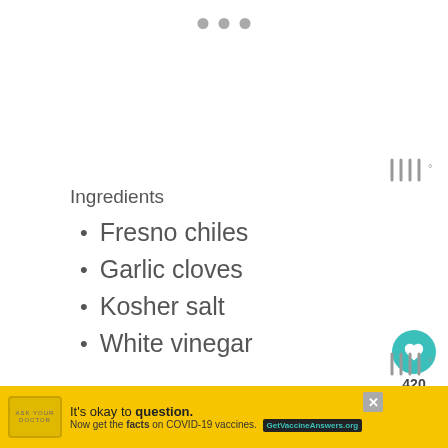[Figure (other): Three grey dots (pagination dots) at top center of page]
[Figure (other): Tally mark icon in grey at upper right]
Ingredients
Fresno chiles
Garlic cloves
Kosher salt
White vinegar
[Figure (other): Heart/like button (teal circle with heart icon) with count 420 below]
[Figure (other): Share button (grey circle with share icon)]
How To Make This Aged Sriracha Hot Sauce – Step By Step
1. Wash the chiles and chop off stems. If you like your sauce less hot, remove the seeds and membranes and
[Figure (other): WHAT'S NEXT overlay with thumbnail image and text '20 Minute Sriracha...']
[Figure (other): Advertisement banner: It's okay to question. Now get the facts on COVID-19 vaccines. GetVaccineAnswers.org]
[Figure (other): Tally mark icon in grey at lower right]